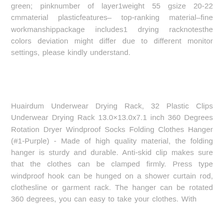green, pinknumber of layer1weight 55 gsize 20-22 cmmaterial plasticfeatures– top-ranking material–fine workmanshippackage includes1 drying racknotesthe colors deviation might differ due to different monitor settings, please kindly understand.
Huairdum Underwear Drying Rack, 32 Plastic Clips Underwear Drying Rack 13.0×13.0x7.1 inch 360 Degrees Rotation Dryer Windproof Socks Folding Clothes Hanger (#1-Purple) - Made of high quality material, the folding hanger is sturdy and durable. Anti-skid clip makes sure that the clothes can be clamped firmly. Press type windproof hook can be hunged on a shower curtain rod, clothesline or garment rack. The hanger can be rotated 360 degrees, you can easy to take your clothes. With